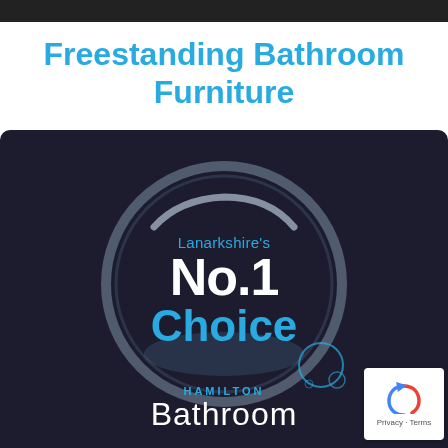Freestanding Bathroom Furniture
[Figure (logo): Hamilton Bathroom promotional image on dark background showing a water splash circle with text 'Lanarkshire’s No.1 Choice' and Hamilton Bathroom branding at the bottom. Includes a reCAPTCHA Privacy-Terms badge in the lower right corner.]